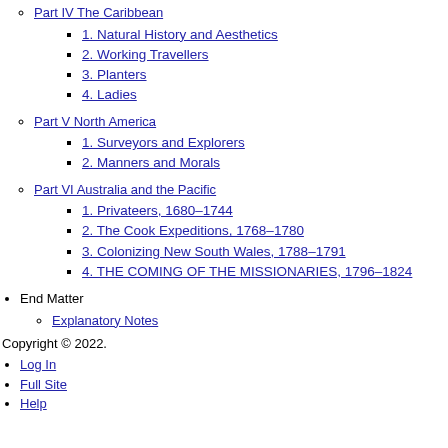Part IV The Caribbean
1. Natural History and Aesthetics
2. Working Travellers
3. Planters
4. Ladies
Part V North America
1. Surveyors and Explorers
2. Manners and Morals
Part VI Australia and the Pacific
1. Privateers, 1680–1744
2. The Cook Expeditions, 1768–1780
3. Colonizing New South Wales, 1788–1791
4. THE COMING OF THE MISSIONARIES, 1796–1824
End Matter
Explanatory Notes
Copyright © 2022.
Log In
Full Site
Help